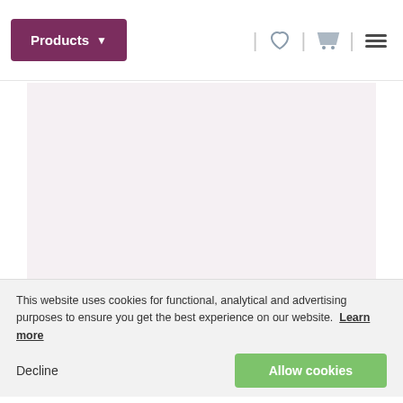Products ▾
[Figure (photo): Product image area — light pink/lavender background, appears to show embroidery floss product (partially visible)]
Mouliné Sullivans 45044 - Vy Dk Shell Pink
High quality cotton yarn appropriate for Cross Stitching
From: Sullivans
100% Egyptian Cotton mercerized of high quality. Six strands. 8.7yd.
Corresponding DMC Colour 221
This website uses cookies for functional, analytical and advertising purposes to ensure you get the best experience on our website. Learn more
Decline   Allow cookies